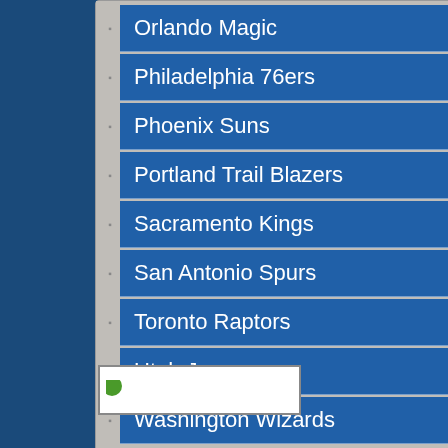Orlando Magic
Philadelphia 76ers
Phoenix Suns
Portland Trail Blazers
Sacramento Kings
San Antonio Spurs
Toronto Raptors
Utah Jazz
Washington Wizards
MLB Ballparks
[Figure (other): Small thumbnail image with green leaf icon]